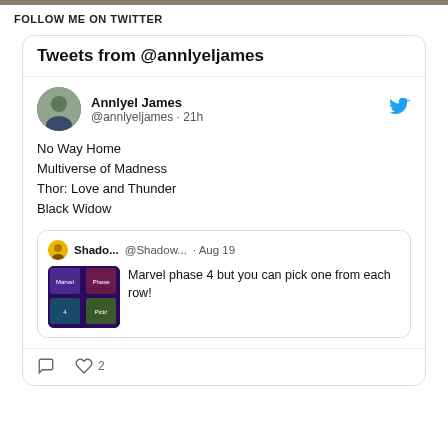FOLLOW ME ON TWITTER
[Figure (screenshot): Twitter widget showing tweets from @annlyeljames. Tweet by Annlyel James (@annlyeljames · 21h) listing: No Way Home, Multiverse of Madness, Thor: Love and Thunder, Black Widow. Includes a quote tweet from Shado... (@Shadow... · Aug 19) with an image of Marvel phase 4 movies and text: Marvel phase 4 but you can pick one from each row! Tweet has 2 likes.]